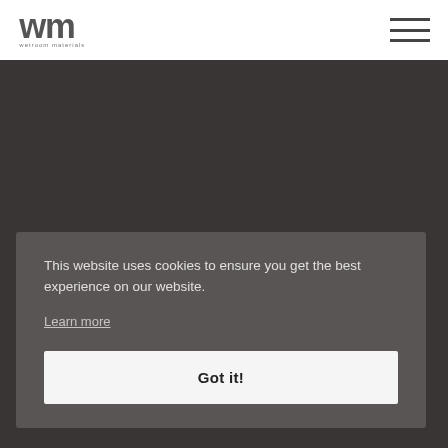wm wetroom materials
[Figure (other): Dark hero background section]
This website uses cookies to ensure you get the best experience on our website.
Learn more
Got it!